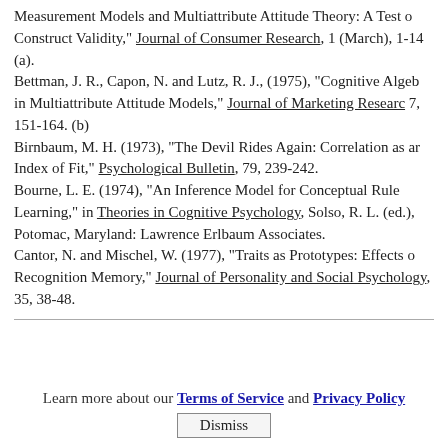Measurement Models and Multiattribute Attitude Theory: A Test of Construct Validity," Journal of Consumer Research, 1 (March), 1-14. (a).
Bettman, J. R., Capon, N. and Lutz, R. J., (1975), "Cognitive Algebra in Multiattribute Attitude Models," Journal of Marketing Research, 7, 151-164. (b)
Birnbaum, M. H. (1973), "The Devil Rides Again: Correlation as an Index of Fit," Psychological Bulletin, 79, 239-242.
Bourne, L. E. (1974), "An Inference Model for Conceptual Rule Learning," in Theories in Cognitive Psychology, Solso, R. L. (ed.), Potomac, Maryland: Lawrence Erlbaum Associates.
Cantor, N. and Mischel, W. (1977), "Traits as Prototypes: Effects on Recognition Memory," Journal of Personality and Social Psychology, 35, 38-48.
Learn more about our Terms of Service and Privacy Policy  Dismiss